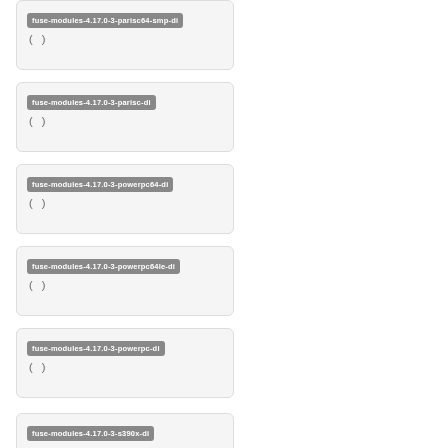fuse-modules-4.17.0-3-parisc64-smp-di
( )
fuse-modules-4.17.0-3-parisc-di
( )
fuse-modules-4.17.0-3-powerpc64-di
( )
fuse-modules-4.17.0-3-powerpc64le-di
( )
fuse-modules-4.17.0-3-powerpc-di
( )
fuse-modules-4.17.0-3-s390x-di